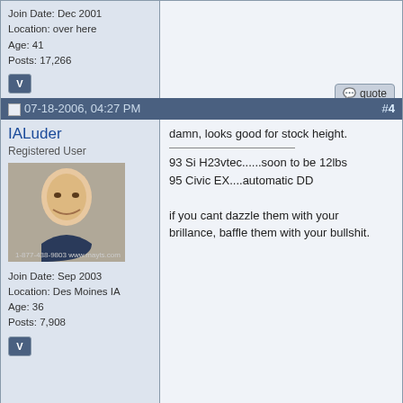Join Date: Dec 2001
Location: over here
Age: 41
Posts: 17,266
07-18-2006, 04:27 PM  #4
IALuder
Registered User
Join Date: Sep 2003
Location: Des Moines IA
Age: 36
Posts: 7,908
damn, looks good for stock height.
93 Si H23vtec......soon to be 12lbs
95 Civic EX....automatic DD

if you cant dazzle them with your brillance, baffle them with your bullshit.
07-18-2006, 05:51 PM  #5
Mischief
Registered User
grass can be deceiving
Quote:
Originally Posted by GT40FIED